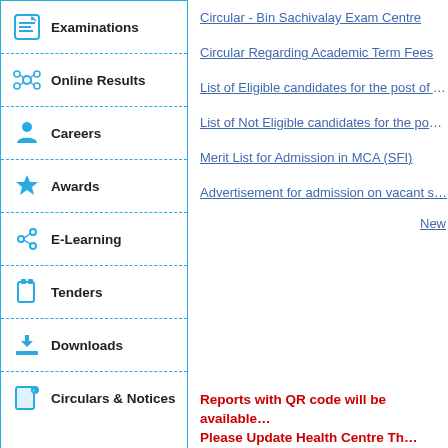Examinations
Online Results
Careers
Awards
E-Learning
Tenders
Downloads
Circulars & Notices
Circular - Bin Sachivalay Exam Centre
Circular Regarding Academic Term Fees
List of Eligible candidates for the post of A...
List of Not Eligible candidates for the pos...
Merit List for Admission in MCA (SFI)
Advertisement for admission on vacant s...
New
Reports with QR code will be available... Please Update Health Centre Th...